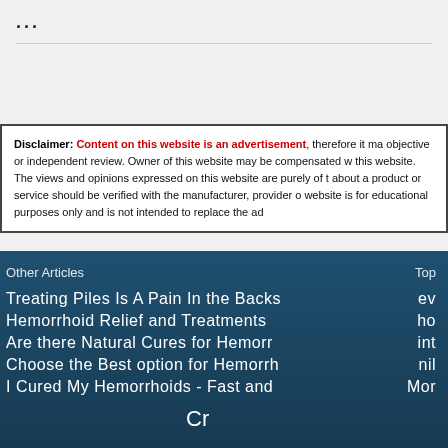...
Disclaimer: Content on this website is an advertisement, therefore it may not be objective or independent review. Owner of this website may be compensated with this website. The views and opinions expressed on this website are purely of the about a product or service should be verified with the manufacturer, provider o website is for educational purposes only and is not intended to replace the ad
Other Articles
Treating Piles Is A Pain In the Backs
Hemorrhoid Relief and Treatments
Are there Natural Cures for Hemorr
Choose the Best option for Hemorrh
I Cured My Hemorrhoids - Fast and
Top
ev
ho
int
nil
Mor
Cr